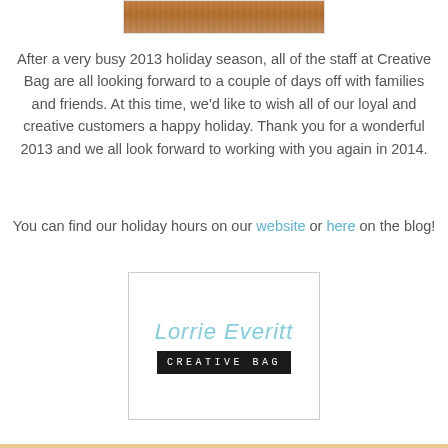[Figure (photo): Top portion of a wooden or craft item image, cropped at the top of the page]
After a very busy 2013 holiday season, all of the staff at Creative Bag are all looking forward to a couple of days off with families and friends. At this time, we'd like to wish all of our loyal and creative customers a happy holiday. Thank you for a wonderful 2013 and we all look forward to working with you again in 2014.
You can find our holiday hours on our website or here on the blog!
[Figure (logo): Signature of Lorrie Everitt in light blue cursive above a black rectangle with white monospaced text reading CREATIVE BAG, all inside a white bordered box]